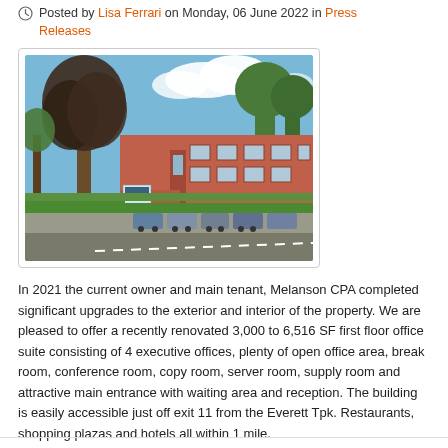Posted by Lisa Ferrari on Monday, 06 June 2022 in Press Releases
[Figure (photo): Exterior photo of a red brick two-story office building with large trees in front and a parking lot with cars, taken on a sunny day with blue sky and clouds.]
In 2021 the current owner and main tenant, Melanson CPA completed significant upgrades to the exterior and interior of the property. We are pleased to offer a recently renovated 3,000 to 6,516 SF first floor office suite consisting of 4 executive offices, plenty of open office area, break room, conference room, copy room, server room, supply room and attractive main entrance with waiting area and reception. The building is easily accessible just off exit 11 from the Everett Tpk. Restaurants, shopping plazas and hotels all within 1 mile.